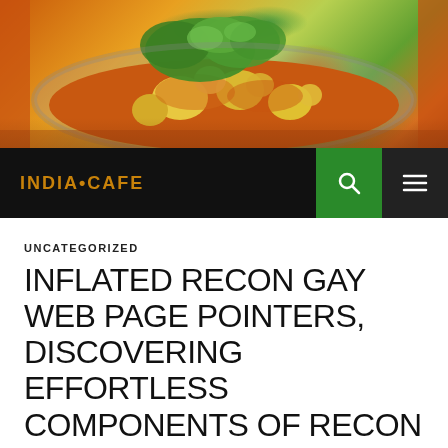[Figure (photo): Photo of an Indian curry dish in a steel bowl, with potatoes, cauliflower, and orange/yellow spiced sauce, garnished with fresh cilantro]
INDIA•CAFE
UNCATEGORIZED
INFLATED RECON GAY WEB PAGE POINTERS, DISCOVERING EFFORTLESS COMPONENTS OF RECON GAY RELATIONSHIPS.
OCTOBER 28, 2021  ADMIN  LEAVE A COMMENT